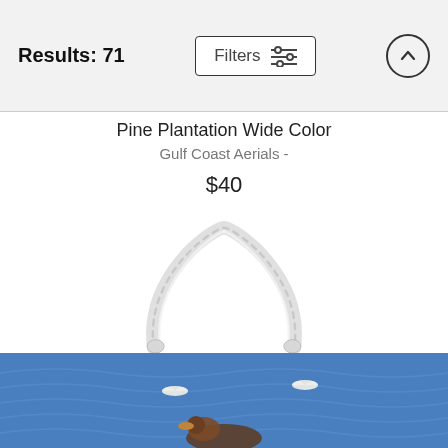Results: 71
Pine Plantation Wide Color
Gulf Coast Aerials -
$40
[Figure (photo): A tote bag with rope handles displayed against a white background. The bag features a blue water scene with birds (ducks/pelicans) on it. The white braided rope handles form an arch above the bag.]